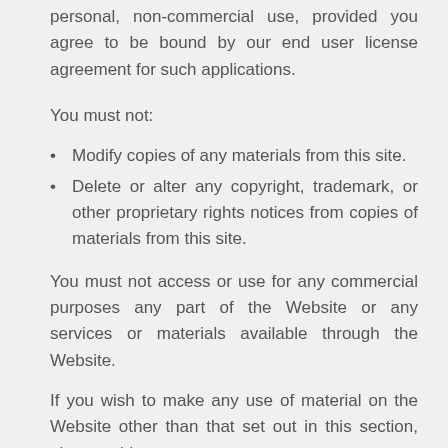personal, non-commercial use, provided you agree to be bound by our end user license agreement for such applications.
You must not:
Modify copies of any materials from this site.
Delete or alter any copyright, trademark, or other proprietary rights notices from copies of materials from this site.
You must not access or use for any commercial purposes any part of the Website or any services or materials available through the Website.
If you wish to make any use of material on the Website other than that set out in this section, please address your request to: